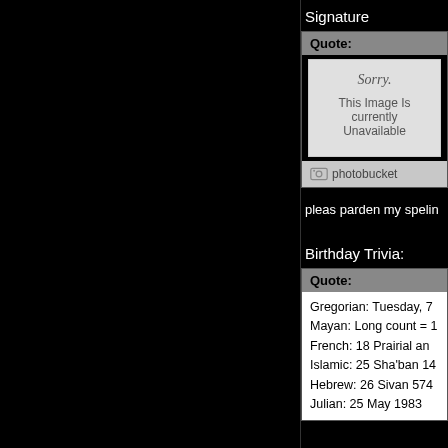Signature
Quote:
[Figure (screenshot): Photobucket image unavailable placeholder showing 'Sorry. This Image Is currently Unavailable' with photobucket logo]
pleas parden my spelin
Birthday Trivia:
Quote:
Gregorian: Tuesday, 7
Mayan: Long count = 1
French: 18 Prairial an
Islamic: 25 Sha'ban 14
Hebrew: 26 Sivan 574
Julian: 25 May 1983